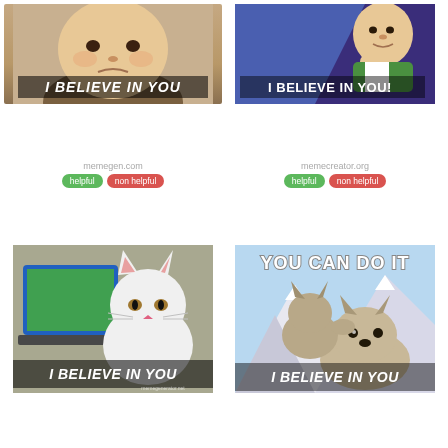[Figure (illustration): Meme with chubby baby frowning, text 'I BELIEVE IN YOU' at bottom, from memegen.com]
[Figure (illustration): Meme with Success Kid baby on purple/blue background, text 'I BELIEVE IN YOU!' at bottom, from memecreator.org]
memegen.com
memecreator.org
helpful
non helpful
helpful
non helpful
[Figure (illustration): Meme with white cat at laptop, text 'I BELIEVE IN YOU' at bottom, from memegenerator.net]
[Figure (illustration): Meme with wolf pup encouraging another wolf pup in snowy mountain scene, text 'YOU CAN DO IT' at top and 'I BELIEVE IN YOU' at bottom]